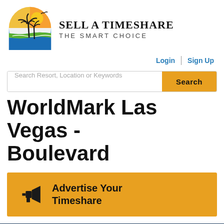[Figure (logo): Sell A Timeshare logo: circular graphic with palm trees, sun, water, and a bird silhouette]
SELL A TIMESHARE THE SMART CHOICE
Login | Sign Up
Search Resort, Location or Keywords — Search button
WorldMark Las Vegas - Boulevard
Advertise Your Timeshare
[Figure (infographic): Dark blue footer bar]